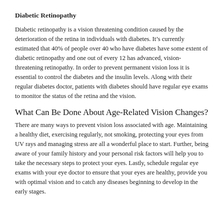Diabetic Retinopathy
Diabetic retinopathy is a vision threatening condition caused by the deterioration of the retina in individuals with diabetes. It’s currently estimated that 40% of people over 40 who have diabetes have some extent of diabetic retinopathy and one out of every 12 has advanced, vision-threatening retinopathy. In order to prevent permanent vision loss it is essential to control the diabetes and the insulin levels. Along with their regular diabetes doctor, patients with diabetes should have regular eye exams to monitor the status of the retina and the vision.
What Can Be Done About Age-Related Vision Changes?
There are many ways to prevent vision loss associated with age. Maintaining a healthy diet, exercising regularly, not smoking, protecting your eyes from UV rays and managing stress are all a wonderful place to start. Further, being aware of your family history and your personal risk factors will help you to take the necessary steps to protect your eyes. Lastly, schedule regular eye exams with your eye doctor to ensure that your eyes are healthy, provide you with optimal vision and to catch any diseases beginning to develop in the early stages.